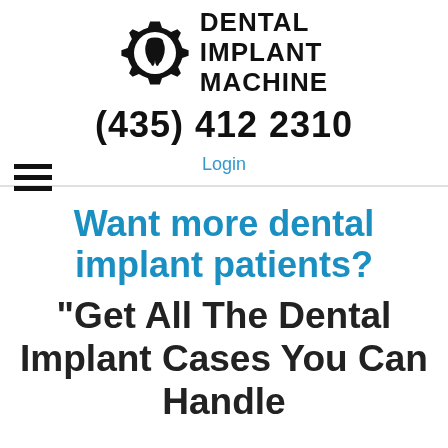[Figure (logo): Dental Implant Machine logo: gear/cog icon with a tooth inside, next to bold uppercase text reading DENTAL IMPLANT MACHINE]
(435) 412 2310
Login
Want more dental implant patients?
"Get All The Dental Implant Cases You Can Handle